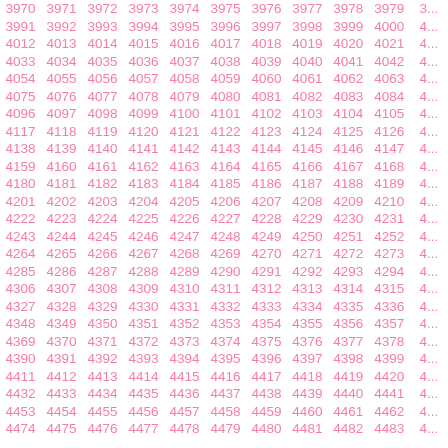| 3970 | 3971 | 3972 | 3973 | 3974 | 3975 | 3976 | 3977 | 3978 | 3979 | 3... |
| 3991 | 3992 | 3993 | 3994 | 3995 | 3996 | 3997 | 3998 | 3999 | 4000 | 4... |
| 4012 | 4013 | 4014 | 4015 | 4016 | 4017 | 4018 | 4019 | 4020 | 4021 | 4... |
| 4033 | 4034 | 4035 | 4036 | 4037 | 4038 | 4039 | 4040 | 4041 | 4042 | 4... |
| 4054 | 4055 | 4056 | 4057 | 4058 | 4059 | 4060 | 4061 | 4062 | 4063 | 4... |
| 4075 | 4076 | 4077 | 4078 | 4079 | 4080 | 4081 | 4082 | 4083 | 4084 | 4... |
| 4096 | 4097 | 4098 | 4099 | 4100 | 4101 | 4102 | 4103 | 4104 | 4105 | 4... |
| 4117 | 4118 | 4119 | 4120 | 4121 | 4122 | 4123 | 4124 | 4125 | 4126 | 4... |
| 4138 | 4139 | 4140 | 4141 | 4142 | 4143 | 4144 | 4145 | 4146 | 4147 | 4... |
| 4159 | 4160 | 4161 | 4162 | 4163 | 4164 | 4165 | 4166 | 4167 | 4168 | 4... |
| 4180 | 4181 | 4182 | 4183 | 4184 | 4185 | 4186 | 4187 | 4188 | 4189 | 4... |
| 4201 | 4202 | 4203 | 4204 | 4205 | 4206 | 4207 | 4208 | 4209 | 4210 | 4... |
| 4222 | 4223 | 4224 | 4225 | 4226 | 4227 | 4228 | 4229 | 4230 | 4231 | 4... |
| 4243 | 4244 | 4245 | 4246 | 4247 | 4248 | 4249 | 4250 | 4251 | 4252 | 4... |
| 4264 | 4265 | 4266 | 4267 | 4268 | 4269 | 4270 | 4271 | 4272 | 4273 | 4... |
| 4285 | 4286 | 4287 | 4288 | 4289 | 4290 | 4291 | 4292 | 4293 | 4294 | 4... |
| 4306 | 4307 | 4308 | 4309 | 4310 | 4311 | 4312 | 4313 | 4314 | 4315 | 4... |
| 4327 | 4328 | 4329 | 4330 | 4331 | 4332 | 4333 | 4334 | 4335 | 4336 | 4... |
| 4348 | 4349 | 4350 | 4351 | 4352 | 4353 | 4354 | 4355 | 4356 | 4357 | 4... |
| 4369 | 4370 | 4371 | 4372 | 4373 | 4374 | 4375 | 4376 | 4377 | 4378 | 4... |
| 4390 | 4391 | 4392 | 4393 | 4394 | 4395 | 4396 | 4397 | 4398 | 4399 | 4... |
| 4411 | 4412 | 4413 | 4414 | 4415 | 4416 | 4417 | 4418 | 4419 | 4420 | 4... |
| 4432 | 4433 | 4434 | 4435 | 4436 | 4437 | 4438 | 4439 | 4440 | 4441 | 4... |
| 4453 | 4454 | 4455 | 4456 | 4457 | 4458 | 4459 | 4460 | 4461 | 4462 | 4... |
| 4474 | 4475 | 4476 | 4477 | 4478 | 4479 | 4480 | 4481 | 4482 | 4483 | 4... |